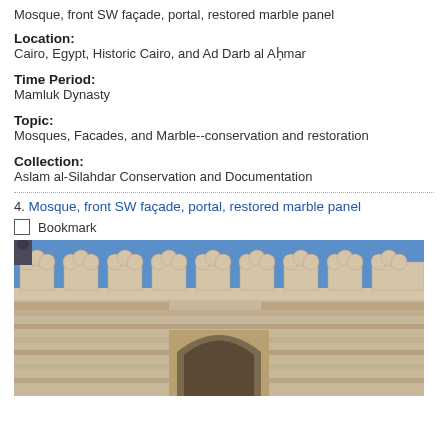Mosque, front SW façade, portal, restored marble panel
Location:
Cairo, Egypt, Historic Cairo, and Ad Darb al Aḥmar
Time Period:
Mamluk Dynasty
Topic:
Mosques, Facades, and Marble--conservation and restoration
Collection:
Aslam al-Silahdar Conservation and Documentation
4. Mosque, front SW façade, portal, restored marble panel
Bookmark
[Figure (photo): Photograph of a mosque façade showing decorative battlements with scalloped/trefoil crenellations in sandy stone against a blue sky, with a large arched portal below.]